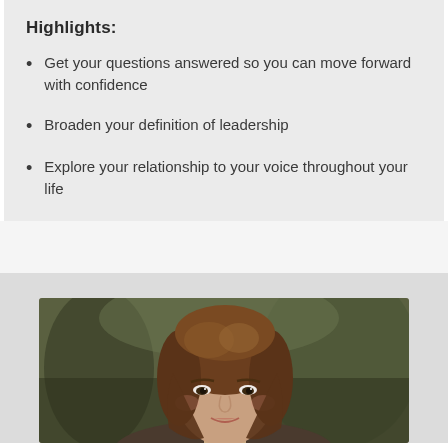Highlights:
Get your questions answered so you can move forward with confidence
Broaden your definition of leadership
Explore your relationship to your voice throughout your life
[Figure (photo): Portrait photo of a woman with brown hair, blurred outdoor background]